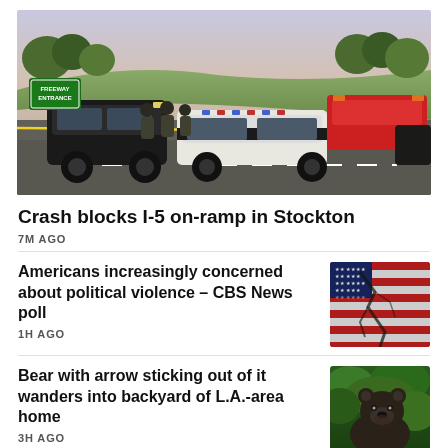[Figure (photo): Police vehicles and officers blocking an I-5 on-ramp at dusk in Stockton, with emergency lights and fire trucks visible in background]
Crash blocks I-5 on-ramp in Stockton
7M AGO
Americans increasingly concerned about political violence – CBS News poll
[Figure (photo): American flag with a cracked or broken surface overlaid on it, red and white stripes with stars visible]
1H AGO
Bear with arrow sticking out of it wanders into backyard of L.A.-area home
[Figure (photo): A black bear photographed in a green leafy environment]
3H AGO